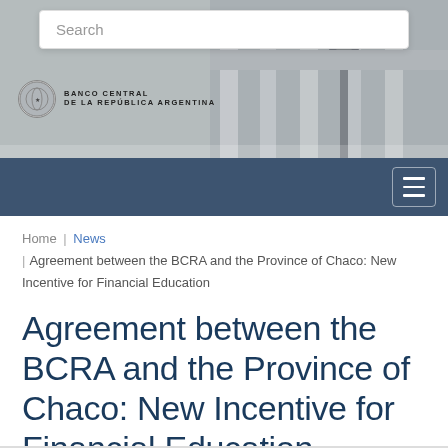[Figure (screenshot): BCRA (Banco Central de la República Argentina) website header with search bar, logo, building photograph background in grayscale, and navy navigation bar with hamburger menu icon.]
Home | News | Agreement between the BCRA and the Province of Chaco: New Incentive for Financial Education
Agreement between the BCRA and the Province of Chaco: New Incentive for Financial Education